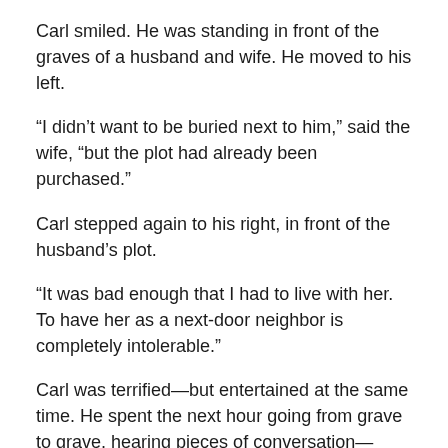Carl smiled. He was standing in front of the graves of a husband and wife. He moved to his left.
“I didn’t want to be buried next to him,” said the wife, “but the plot had already been purchased.”
Carl stepped again to his right, in front of the husband’s plot.
“It was bad enough that I had to live with her. To have her as a next-door neighbor is completely intolerable.”
Carl was terrified—but entertained at the same time. He spent the next hour going from grave to grave, hearing pieces of conversation—mostly complaints.
He wondered if death was a place where people realized that their lives were over, but they still kept their sadness.